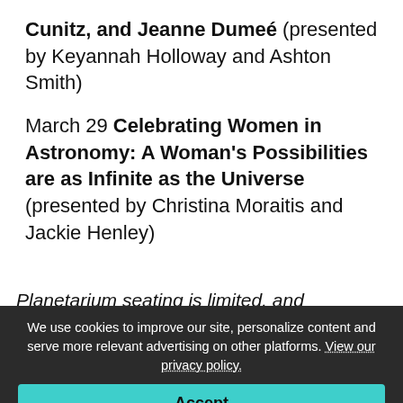Cunitz, and Jeanne Dumeé (presented by Keyannah Holloway and Ashton Smith)
March 29 Celebrating Women in Astronomy: A Woman's Possibilities are as Infinite as the Universe (presented by Christina Moraitis and Jackie Henley)
Planetarium seating is limited, and admission is first come, first seated.
We use cookies to improve our site, personalize content and serve more relevant advertising on other platforms. View our privacy policy.
Accept
Preferences
Samford is a leading Christian university offering